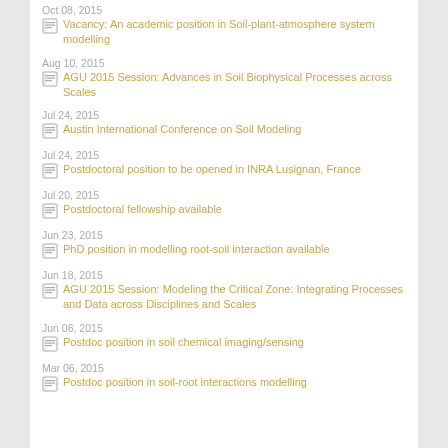Oct 08, 2015 — Vacancy: An academic position in Soil-plant-atmosphere system modelling
Aug 10, 2015 — AGU 2015 Session: Advances in Soil Biophysical Processes across Scales
Jul 24, 2015 — Austin International Conference on Soil Modeling
Jul 24, 2015 — Postdoctoral position to be opened in INRA Lusignan, France
Jul 20, 2015 — Postdoctoral fellowship available
Jun 23, 2015 — PhD position in modelling root-soil interaction available
Jun 18, 2015 — AGU 2015 Session: Modeling the Critical Zone: Integrating Processes and Data across Disciplines and Scales
Jun 06, 2015 — Postdoc position in soil chemical imaging/sensing
Mar 06, 2015 — Postdoc position in soil-root interactions modelling